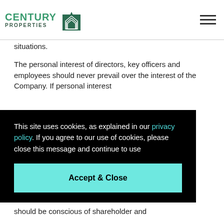CENTURY PROPERTIES [logo]
situations.
The personal interest of directors, key officers and employees should never prevail over the interest of the Company. If personal interest
This site uses cookies, as explained in our privacy policy. If you agree to our use of cookies, please close this message and continue to use
Accept & Close
should be conscious of shareholder and